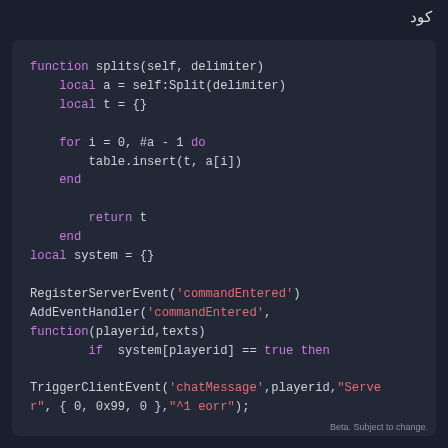كود
[Figure (screenshot): Dark-themed code editor screenshot showing Lua code with syntax highlighting. Code includes a splits function, local system table, RegisterServerEvent, AddEventHandler, and TriggerClientEvent calls.]
Beta. Subject to change.